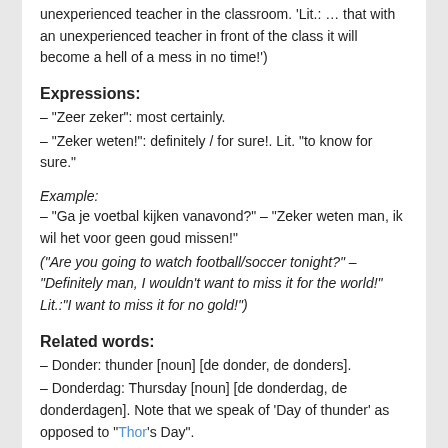unexperienced teacher in the classroom. 'Lit.: … that with an unexperienced teacher in front of the class it will become a hell of a mess in no time!')
Expressions:
– “Zeer zeker”: most certainly.
– “Zeker weten!”: definitely / for sure!. Lit. “to know for sure.”
Example:
– “Ga je voetbal kijken vanavond?” – “Zeker weten man, ik wil het voor geen goud missen!”
(“Are you going to watch football/soccer tonight?” – “Definitely man, I wouldn’t want to miss it for the world!” Lit.:”I want to miss it for no gold!”)
Related words:
– Donder: thunder [noun] [de donder, de donders].
– Donderdag: Thursday [noun] [de donderdag, de donderdagen]. Note that we speak of ‘Day of thunder’ as opposed to “Thor’s Day”.
– Zeker: certain, sure [adjective/adverb]